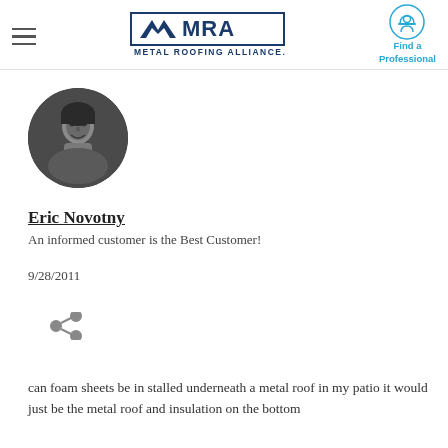Metal Roofing Alliance - Find a Professional
[Figure (photo): Circular black and white profile photo of a man]
Eric Novotny
An informed customer is the Best Customer!
9/28/2011
[Figure (other): Share icon (social sharing symbol)]
can foam sheets be in stalled underneath a metal roof in my patio it would just be the metal roof and insulation on the bottom